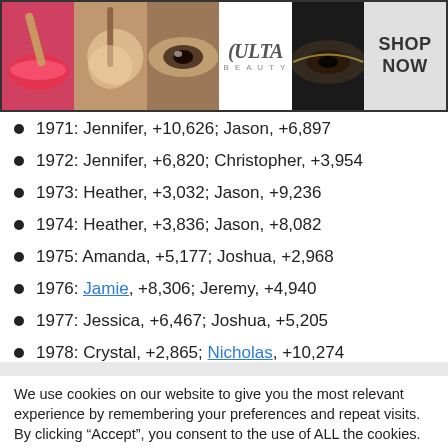[Figure (photo): Ulta Beauty advertisement banner showing close-up makeup photos with SHOP NOW button]
1971: Jennifer, +10,626; Jason, +6,897
1972: Jennifer, +6,820; Christopher, +3,954
1973: Heather, +3,032; Jason, +9,236
1974: Heather, +3,836; Jason, +8,082
1975: Amanda, +5,177; Joshua, +2,968
1976: Jamie, +8,306; Jeremy, +4,940
1977: Jessica, +6,467; Joshua, +5,205
1978: Crystal, +2,865; Nicholas, +10,274
We use cookies on our website to give you the most relevant experience by remembering your preferences and repeat visits. By clicking “Accept”, you consent to the use of ALL the cookies.
Do not sell my personal information.
[Figure (photo): Ulta Beauty advertisement banner showing close-up makeup photos with SHOP NOW button (bottom)]